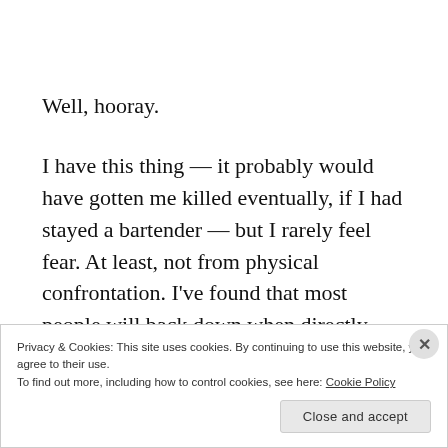Well, hooray.
I have this thing — it probably would have gotten me killed eventually, if I had stayed a bartender — but I rarely feel fear. At least, not from physical confrontation. I've found that most people will back down when directly confronted.  Nobody wants to get
Privacy & Cookies: This site uses cookies. By continuing to use this website, you agree to their use.
To find out more, including how to control cookies, see here: Cookie Policy
Close and accept